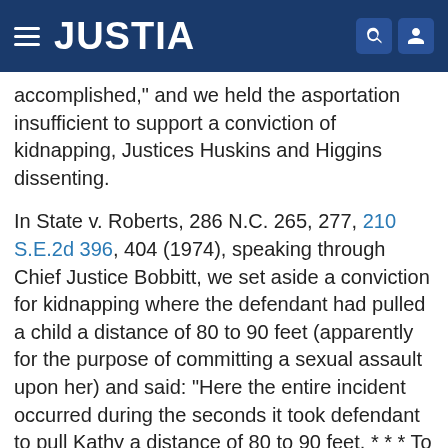JUSTIA
accomplished," and we held the asportation insufficient to support a conviction of kidnapping, Justices Huskins and Higgins dissenting.
In State v. Roberts, 286 N.C. 265, 277, 210 S.E.2d 396, 404 (1974), speaking through Chief Justice Bobbitt, we set aside a conviction for kidnapping where the defendant had pulled a child a distance of 80 to 90 feet (apparently for the purpose of committing a sexual assault upon her) and said: "Here the entire incident occurred during the seconds it took defendant to pull Kathy a distance of 80 to 90 feet. * * * To constitute the crime of kidnapping the defendant (1) must have falsely imprisoned his victim by acquiring complete dominion and control over him for some appreciable period of time, and (2) must have carried him beyond the immediate vicinity of the place of such false imprisonment. We hold the evidence,